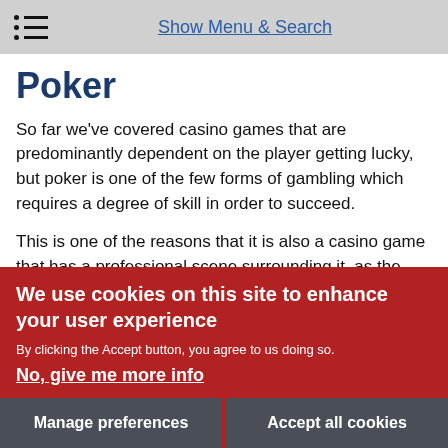Show Menu & Search
Poker
So far we've covered casino games that are predominantly dependent on the player getting lucky, but poker is one of the few forms of gambling which requires a degree of skill in order to succeed.
This is one of the reasons that it is also a casino game that has a professional scene surrounding it, as the best players can reliably rake in cash whether they play online or at real-world
We use cookies on this site to enhance your user experience
By clicking the Accept button, you agree to us doing so.
No, give me more info
Manage preferences
Accept all cookies